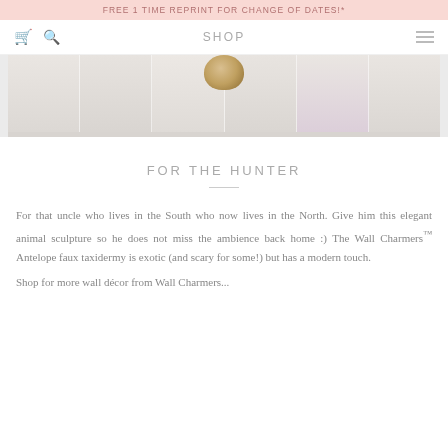FREE 1 TIME REPRINT FOR CHANGE OF DATES!*
SHOP
[Figure (photo): A decorative pom-pom or faux fur ball hanging on a whitewashed wooden plank wall background, partially cropped at the top.]
FOR THE HUNTER
For that uncle who lives in the South who now lives in the North. Give him this elegant animal sculpture so he does not miss the ambience back home :) The Wall Charmers™ Antelope faux taxidermy is exotic (and scary for some!) but has a modern touch.
Shop for more wall décor from Wall Charmers...